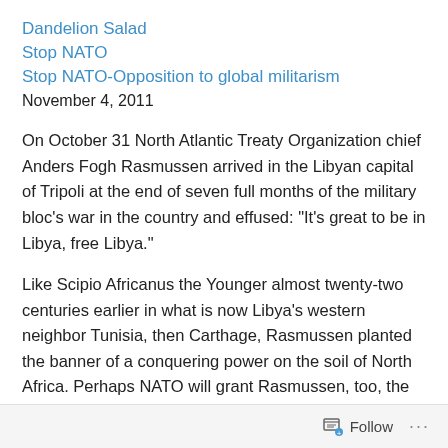Dandelion Salad
Stop NATO
Stop NATO-Opposition to global militarism
November 4, 2011
On October 31 North Atlantic Treaty Organization chief Anders Fogh Rasmussen arrived in the Libyan capital of Tripoli at the end of seven full months of the military bloc’s war in the country and effused: “It’s great to be in Libya, free Libya.”
Like Scipio Africanus the Younger almost twenty-two centuries earlier in what is now Libya’s western neighbor Tunisia, then Carthage, Rasmussen planted the banner of a conquering power on the soil of North Africa. Perhaps NATO will grant Rasmussen, too, the honorific cognomen
Follow ...